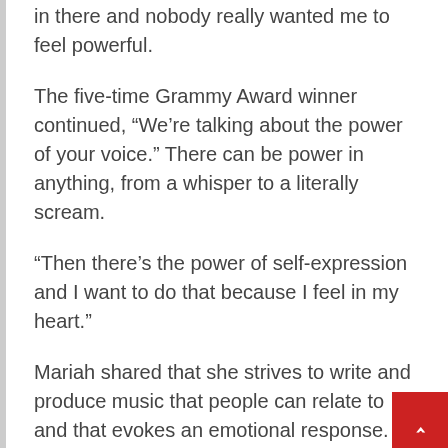in there and nobody really wanted me to feel powerful.
The five-time Grammy Award winner continued, “We’re talking about the power of your voice.” There can be power in anything, from a whisper to a literally scream.
“Then there’s the power of self-expression and I want to do that because I feel in my heart.”
Mariah shared that she strives to write and produce music that people can relate to and that evokes an emotional response.
“As a singer, as a songwriter, I choose to be very, very specific and real about certain things,” she said.